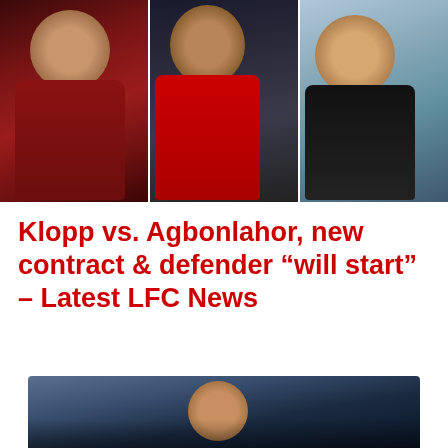[Figure (photo): Three-panel collage of Liverpool FC figures: left panel shows a player in dark red jersey with arm raised, center panel shows a player in red Liverpool jersey clapping, right panel shows a smiling man in black jacket with arms crossed.]
Klopp vs. Agbonlahor, new contract & defender “will start” – Latest LFC News
[Figure (photo): Partial photo at bottom of page showing a person's face from a crowd scene.]